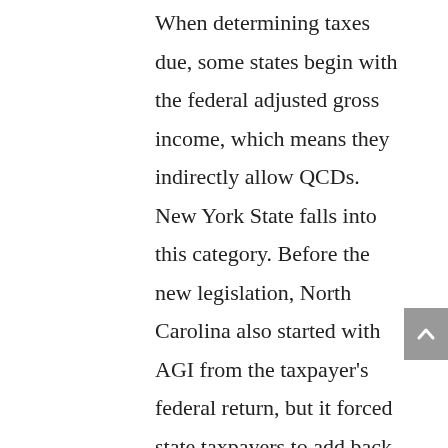When determining taxes due, some states begin with the federal adjusted gross income, which means they indirectly allow QCDs. New York State falls into this category. Before the new legislation, North Carolina also started with AGI from the taxpayer's federal return, but it forced state taxpayers to add back the QCD exclusion. The new law eliminates that adjustment and allows QCDs from the federal return in the Tar Heel State.